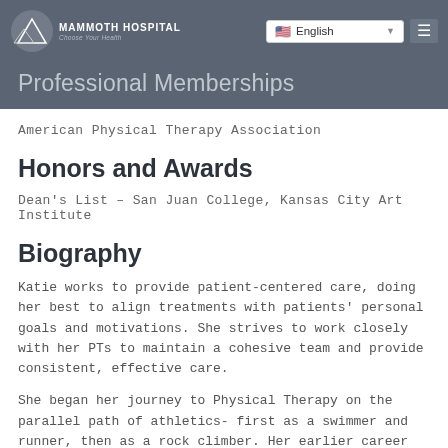Mammoth Hospital | English
Professional Memberships
American Physical Therapy Association
Honors and Awards
Dean's List – San Juan College, Kansas City Art Institute
Biography
Katie works to provide patient-centered care, doing her best to align treatments with patients' personal goals and motivations. She strives to work closely with her PTs to maintain a cohesive team and provide consistent, effective care.
She began her journey to Physical Therapy on the parallel path of athletics- first as a swimmer and runner, then as a rock climber. Her earlier career as a staff